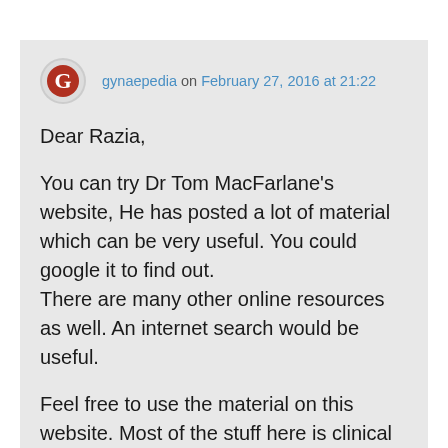gynaepedia on February 27, 2016 at 21:22
Dear Razia,

You can try Dr Tom MacFarlane's website, He has posted a lot of material which can be very useful. You could google it to find out.
There are many other online resources as well. An internet search would be useful.

Feel free to use the material on this website. Most of the stuff here is clinical and possibly more relevant for MRCOG Part II. But recently, MRCOG Part I has become more clinical and you might benefit